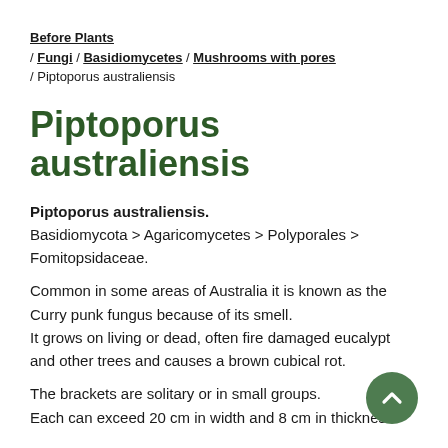Before Plants / Fungi / Basidiomycetes / Mushrooms with pores / Piptoporus australiensis
Piptoporus australiensis
Piptoporus australiensis. Basidiomycota > Agaricomycetes > Polyporales > Fomitopsidaceae.
Common in some areas of Australia it is known as the Curry punk fungus because of its smell. It grows on living or dead, often fire damaged eucalypt and other trees and causes a brown cubical rot.
The brackets are solitary or in small groups. Each can exceed 20 cm in width and 8 cm in thickness.